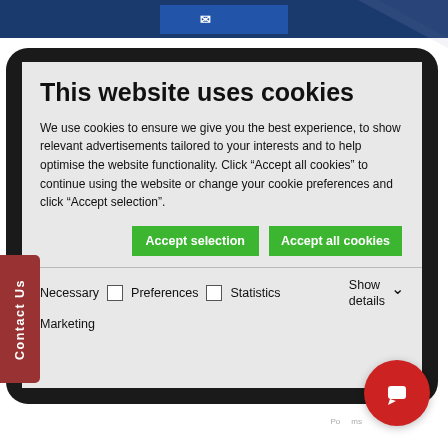[Figure (screenshot): Top blue navigation bar with white button]
[Figure (screenshot): Cookie consent dialog displayed on a tablet device frame. Contains title 'This website uses cookies', explanatory text, Accept selection and Accept all cookies green buttons, and checkboxes for Necessary, Preferences, Statistics, Marketing categories with Show details option.]
This website uses cookies
We use cookies to ensure we give you the best experience, to show relevant advertisements tailored to your interests and to help optimise the website functionality. Click “Accept all cookies” to continue using the website or change your cookie preferences and click “Accept selection”.
Accept selection
Accept all cookies
Necessary  Preferences  Statistics  Marketing  Show details
Contact Us
[Figure (illustration): Red circular chat/messenger button at bottom right]